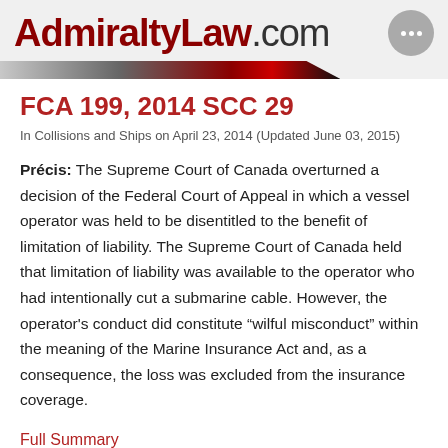AdmiraltyLaw.com
FCA 199, 2014 SCC 29
In Collisions and Ships on April 23, 2014 (Updated June 03, 2015)
Précis: The Supreme Court of Canada overturned a decision of the Federal Court of Appeal in which a vessel operator was held to be disentitled to the benefit of limitation of liability. The Supreme Court of Canada held that limitation of liability was available to the operator who had intentionally cut a submarine cable. However, the operator's conduct did constitute “wilful misconduct” within the meaning of the Marine Insurance Act and, as a consequence, the loss was excluded from the insurance coverage.
Full Summary